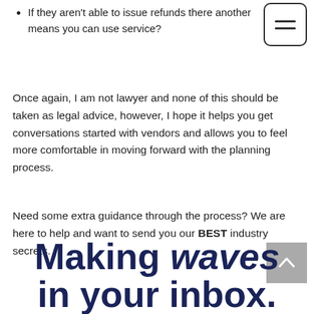If they aren't able to issue refunds there another means you can use service?
Once again, I am not lawyer and none of this should be taken as legal advice, however, I hope it helps you get conversations started with vendors and allows you to feel more comfortable in moving forward with the planning process.
Need some extra guidance through the process? We are here to help and want to send you our BEST industry secrets.
Making waves in your inbox.